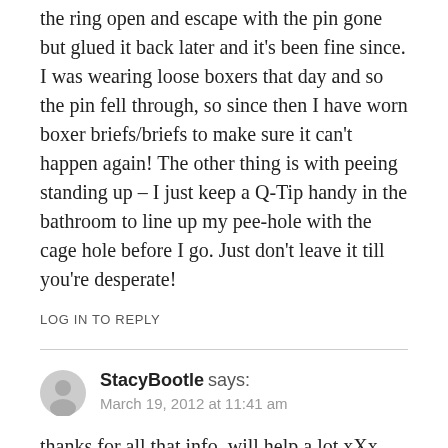the ring open and escape with the pin gone but glued it back later and it’s been fine since. I was wearing loose boxers that day and so the pin fell through, so since then I have worn boxer briefs/briefs to make sure it can’t happen again! The other thing is with peeing standing up – I just keep a Q-Tip handy in the bathroom to line up my pee-hole with the cage hole before I go. Just don’t leave it till you’re desperate!
LOG IN TO REPLY
StacyBootle says:
March 19, 2012 at 11:41 am
thanks for all that info, will help a lot xXx
LOG IN TO REPLY